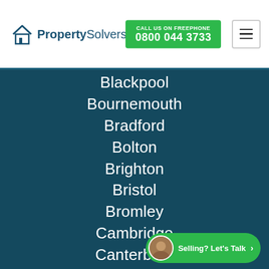[Figure (logo): PropertySolvers logo with house icon and company name]
CALL US on FREEPHONE
0800 044 3733
Blackpool
Bournemouth
Bradford
Bolton
Brighton
Bristol
Bromley
Cambridge
Canterbury
Cardiff
Carlisle
Chelmsford
Chester
Selling? Let's Talk >